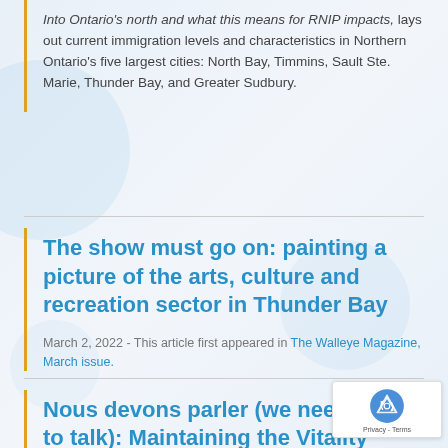Into Ontario's north and what this means for RNIP impacts, lays out current immigration levels and characteristics in Northern Ontario's five largest cities: North Bay, Timmins, Sault Ste. Marie, Thunder Bay, and Greater Sudbury.
The show must go on: painting a picture of the arts, culture and recreation sector in Thunder Bay
March 2, 2022 - This article first appeared in The Walleye Magazine, March issue.
Nous devons parler (we need to talk): Maintaining the Vitality